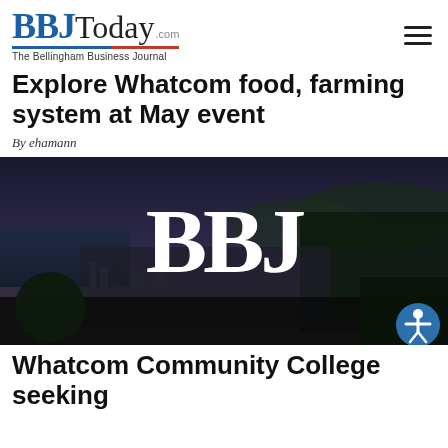BBJToday.com — The Bellingham Business Journal
Explore Whatcom food, farming system at May event
By ehamann
[Figure (photo): Aerial/cityscape photo of Bellingham, WA at dusk with water and forested hills visible, overlaid with large white 'BBJ' text watermark and an accessibility icon button in the lower right corner.]
Whatcom Community College seeking